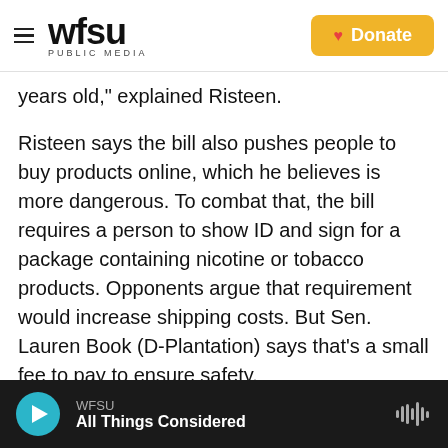WFSU PUBLIC MEDIA | Donate
years old," explained Risteen.
Risteen says the bill also pushes people to buy products online, which he believes is more dangerous. To combat that, the bill requires a person to show ID and sign for a package containing nicotine or tobacco products. Opponents argue that requirement would increase shipping costs. But Sen. Lauren Book (D-Plantation) says that's a small fee to pay to ensure safety.
"In terms of some of the other provisions that folks have trouble with signing and providing an ID
WFSU | All Things Considered